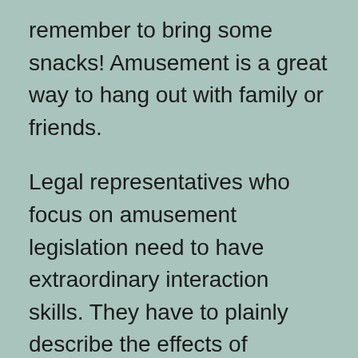remember to bring some snacks! Amusement is a great way to hang out with family or friends.
Legal representatives who focus on amusement legislation need to have extraordinary interaction skills. They have to plainly describe the effects of choices and contracts to their customers. A lot of entertainment law deals entail a considerable amount of settlement. Negotiations are a crucial part of any type of entertainment legislation deal, so home entertainment lawyers have to be adept at negotiating with